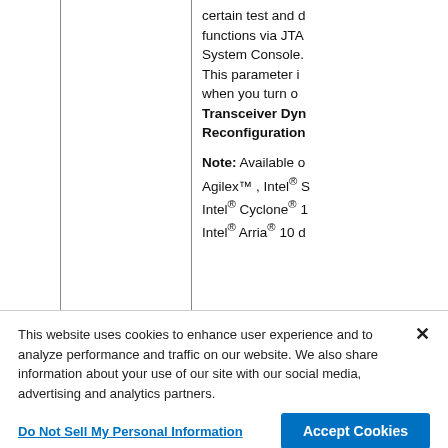|  |  |  |
| --- | --- | --- |
|  |  | certain test and d functions via JTA System Console. This parameter i when you turn on Transceiver Dyn Reconfiguration Note: Available o Agilex™ , Intel® S Intel® Cyclone® 1 Intel® Arria® 10 d |
This website uses cookies to enhance user experience and to analyze performance and traffic on our website. We also share information about your use of our site with our social media, advertising and analytics partners.
Do Not Sell My Personal Information
Accept Cookies